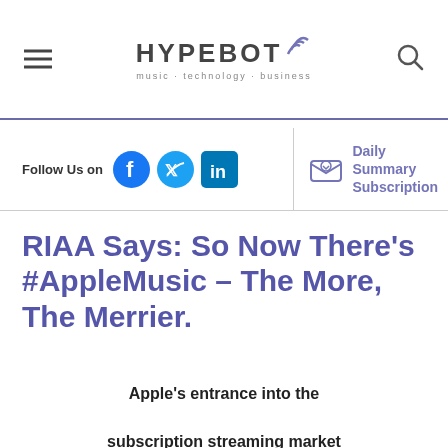HYPEBOT — music · technology · business
Follow Us on [Facebook] [Twitter] [LinkedIn]
Daily Summary Subscription
RIAA Says: So Now There's #AppleMusic – The More, The Merrier.
Apple's entrance into the subscription streaming market